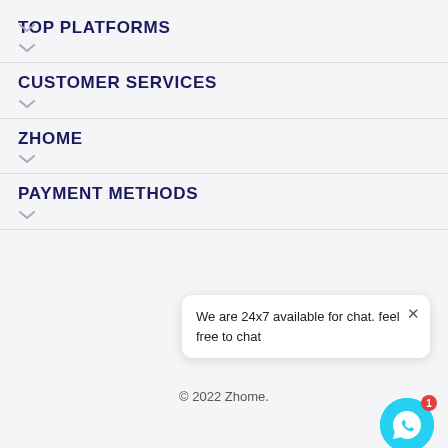TOP PLATFORMS
CUSTOMER SERVICES
ZHOME
PAYMENT METHODS
We are 24x7 available for chat. feel free to chat
© 2022 Zhome.